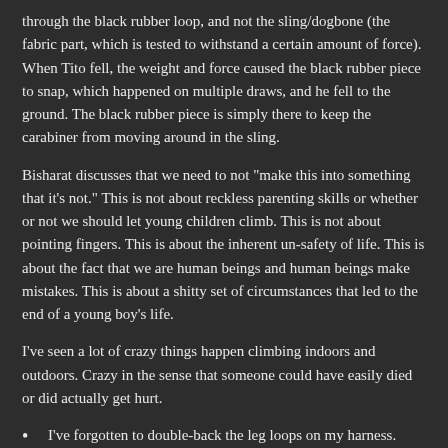through the black rubber loop, and not the sling/dogbone (the fabric part, which is tested to withstand a certain amount of force). When Tito fell, the weight and force caused the black rubber piece to snap, which happened on multiple draws, and he fell to the ground. The black rubber piece is simply there to keep the carabiner from moving around in the sling.
Bisharat discusses that we need to not "make this into something that it's not." This is not about reckless parenting skills or whether or not we should let young children climb. This is not about pointing fingers. This is about the inherent un-safety of life. This is about the fact that we are human beings and human beings make mistakes. This is about a shitty set of circumstances that led to the end of a young boy's life.
I've seen a lot of crazy things happen climbing indoors and outdoors. Crazy in the sense that someone could have easily died or did actually get hurt.
I've forgotten to double-back the leg loops on my harness. Luckily, everything was fine and no one got hurt.
I've witnessed a climber get stranded on an outdoor wall while